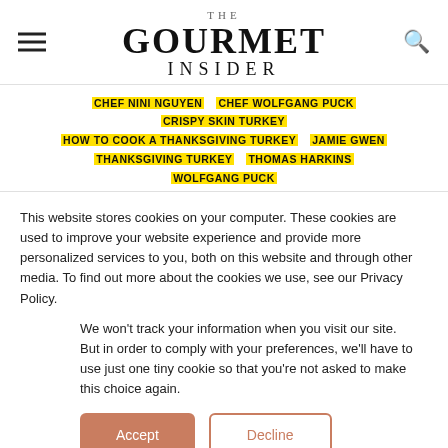THE GOURMET INSIDER
CHEF NINI NGUYEN
CHEF WOLFGANG PUCK
CRISPY SKIN TURKEY
HOW TO COOK A THANKSGIVING TURKEY
JAMIE GWEN
THANKSGIVING TURKEY
THOMAS HARKINS
WOLFGANG PUCK
This website stores cookies on your computer. These cookies are used to improve your website experience and provide more personalized services to you, both on this website and through other media. To find out more about the cookies we use, see our Privacy Policy.
We won't track your information when you visit our site. But in order to comply with your preferences, we'll have to use just one tiny cookie so that you're not asked to make this choice again.
Accept   Decline